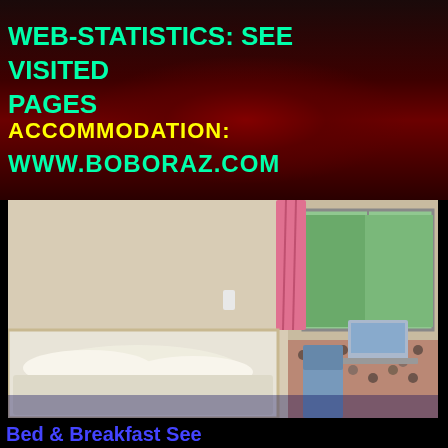WEB-STATISTICS:  SEE  VISITED PAGES
ACCOMMODATION:
WWW.BOBORAZ.COM
[Figure (photo): A room with a bed, pink curtains, a window with green trees outside, and a table with a decorative cloth. Bed & Breakfast accommodation photo.]
Bed  &  Breakfast  See Copenhagen  Copenhagen, Denmark